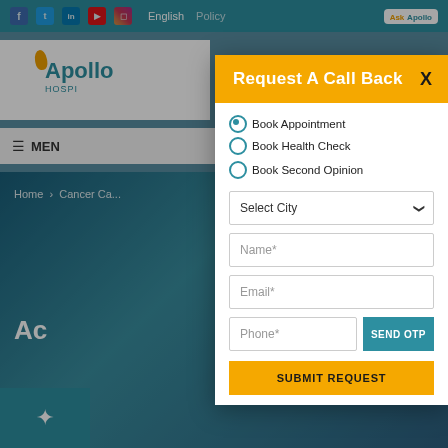Apollo Hospitals website navigation bar with social icons and English / Policy links
[Figure (screenshot): Apollo Hospitals logo partially visible in background]
≡ MEN
Home › Cancer Ca...
Ac...
Request A Call Back
● Book Appointment  ○ Book Health Check
○ Book Second Opinion
Select City
Name*
Email*
Phone*
SEND OTP
SUBMIT REQUEST